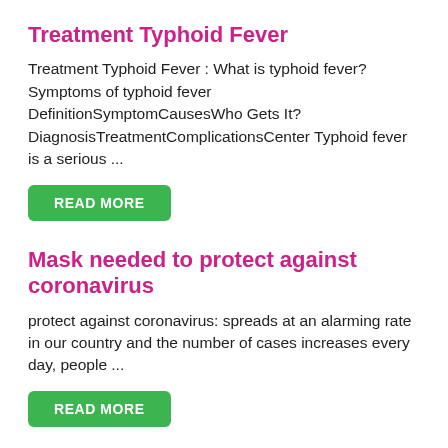Treatment Typhoid Fever
Treatment Typhoid Fever : What is typhoid fever? Symptoms of typhoid fever DefinitionSymptomCausesWho Gets It?DiagnosisTreatmentComplicationsCenter Typhoid fever is a serious ...
READ MORE
Mask needed to protect against coronavirus
protect against coronavirus: spreads at an alarming rate in our country and the number of cases increases every day, people ...
READ MORE
Explaine Birthmarks: you worry about your child's birthmark?
Birthmarks: It is important that you do not feel worried about